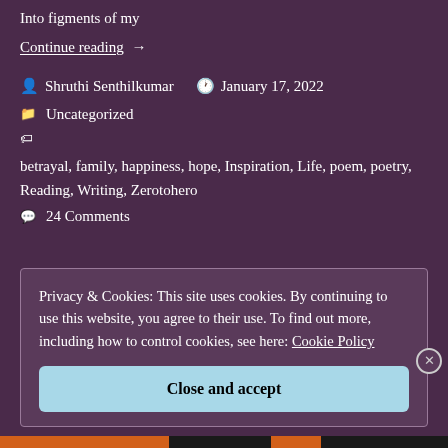Into figments of my
Continue reading →
Shruthi Senthilkumar   January 17, 2022
Uncategorized
betrayal, family, happiness, hope, Inspiration, Life, poem, poetry, Reading, Writing, Zerotohero
24 Comments
Privacy & Cookies: This site uses cookies. By continuing to use this website, you agree to their use. To find out more, including how to control cookies, see here: Cookie Policy
Close and accept